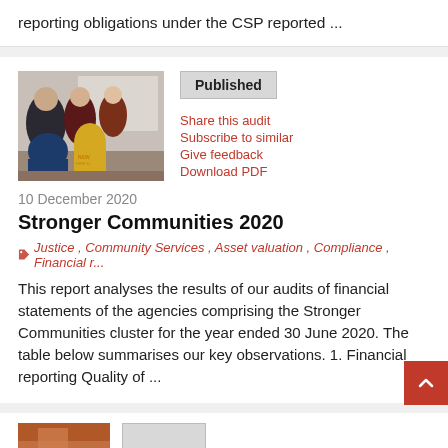reporting obligations under the CSP reported ...
[Figure (photo): Group of emergency services personnel in uniform looking at documents together]
Published
Share this audit
Subscribe to similar
Give feedback
Download PDF
10 December 2020
Stronger Communities 2020
Justice , Community Services , Asset valuation , Compliance , Financial r...
This report analyses the results of our audits of financial statements of the agencies comprising the Stronger Communities cluster for the year ended 30 June 2020. The table below summarises our key observations. 1. Financial reporting Quality of ...